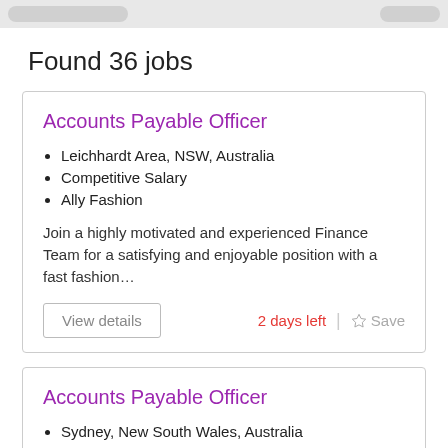Found 36 jobs
Accounts Payable Officer
Leichhardt Area, NSW, Australia
Competitive Salary
Ally Fashion
Join a highly motivated and experienced Finance Team for a satisfying and enjoyable position with a fast fashion…
View details
2 days left
Save
Accounts Payable Officer
Sydney, New South Wales, Australia
Competitive Salary